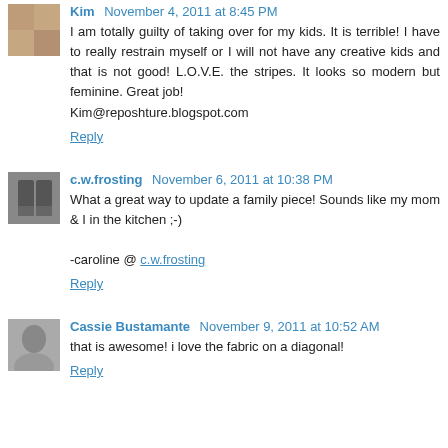Kim November 4, 2011 at 8:45 PM
I am totally guilty of taking over for my kids. It is terrible! I have to really restrain myself or I will not have any creative kids and that is not good! L.O.V.E. the stripes. It looks so modern but feminine. Great job!
Kim@reposhture.blogspot.com
Reply
c.w.frosting November 6, 2011 at 10:38 PM
What a great way to update a family piece! Sounds like my mom & I in the kitchen ;-)

-caroline @ c.w.frosting
Reply
Cassie Bustamante November 9, 2011 at 10:52 AM
that is awesome! i love the fabric on a diagonal!
Reply